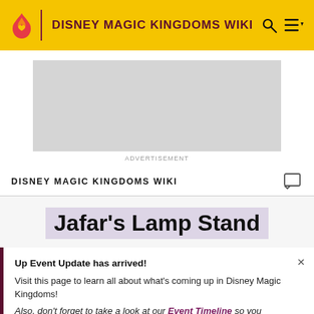DISNEY MAGIC KINGDOMS WIKI
[Figure (screenshot): Advertisement placeholder — grey rectangle with ADVERTISEMENT label below]
DISNEY MAGIC KINGDOMS WIKI
Jafar's Lamp Stand
Up Event Update has arrived! Visit this page to learn all about what's coming up in Disney Magic Kingdoms! Also, don't forget to take a look at our Event Timeline so you